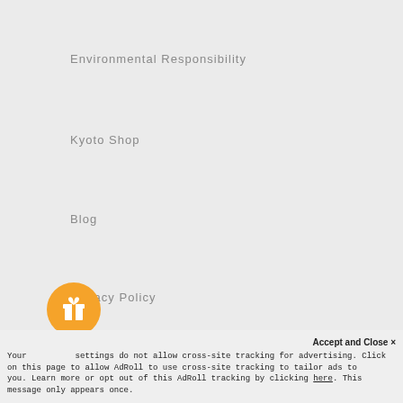Environmental Responsibility
Kyoto Shop
Blog
Privacy Policy
Terms and Conditions
Shop
Best Sellers
[Figure (illustration): Orange circular gift/reward button icon with a white gift box symbol]
Accept and Close ×
Your settings do not allow cross-site tracking for advertising. Click on this page to allow AdRoll to use cross-site tracking to tailor ads to you. Learn more or opt out of this AdRoll tracking by clicking here. This message only appears once.